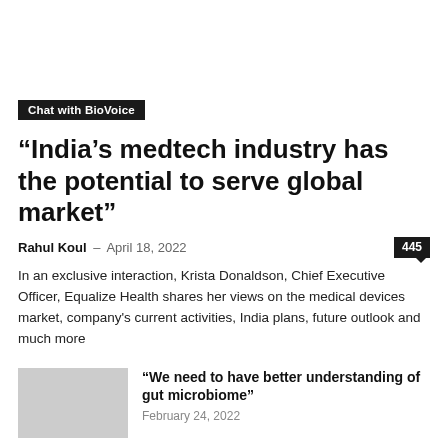Chat with BioVoice
“India’s medtech industry has the potential to serve global market”
Rahul Koul – April 18, 2022   445
In an exclusive interaction, Krista Donaldson, Chief Executive Officer, Equalize Health shares her views on the medical devices market, company's current activities, India plans, future outlook and much more
“We need to have better understanding of gut microbiome”
February 24, 2022
“Murata Vios plans to expand its foot prints across tier II...
February 7, 2022